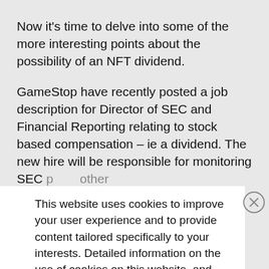Now it's time to delve into some of the more interesting points about the possibility of an NFT dividend.
GameStop have recently posted a job description for Director of SEC and Financial Reporting relating to stock based compensation – ie a dividend. The new hire will be responsible for monitoring SEC This website uses cookies to improve your user experience and to provide content tailored specifically to your interests. Detailed information on the use of cookies on this website, and how you can manage your preferences, is provided in our Cookie Notice. By clicking I Agree or continuing to use this website, you consent to the use of cookies. Learn more   I agree